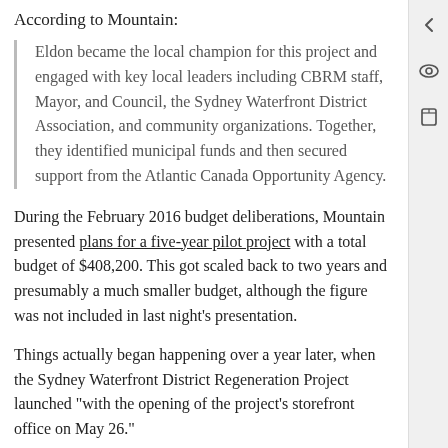According to Mountain:
Eldon became the local champion for this project and engaged with key local leaders including CBRM staff, Mayor, and Council, the Sydney Waterfront District Association, and community organizations. Together, they identified municipal funds and then secured support from the Atlantic Canada Opportunity Agency.
During the February 2016 budget deliberations, Mountain presented plans for a five-year pilot project with a total budget of $408,200. This got scaled back to two years and presumably a much smaller budget, although the figure was not included in last night’s presentation.
Things actually began happening over a year later, when the Sydney Waterfront District Regeneration Project launched “with the opening of the project’s storefront office on May 26.”